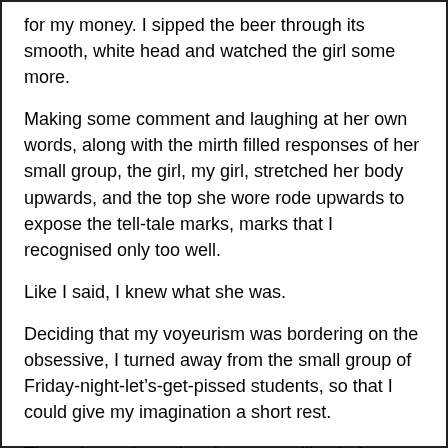for my money. I sipped the beer through its smooth, white head and watched the girl some more.
Making some comment and laughing at her own words, along with the mirth filled responses of her small group, the girl, my girl, stretched her body upwards, and the top she wore rode upwards to expose the tell-tale marks, marks that I recognised only too well.
Like I said, I knew what she was.
Deciding that my voyeurism was bordering on the obsessive, I turned away from the small group of Friday-night-let's-get-pissed students, so that I could give my imagination a short rest.
The pub was busy, but the guys calling in for a pint on their way home from work were beginning to fade away, and the main bar room was looking less full by the minute.
“Are you gonna keep watching me all night.”
I turned to look at the pretty face by my side. For all I had